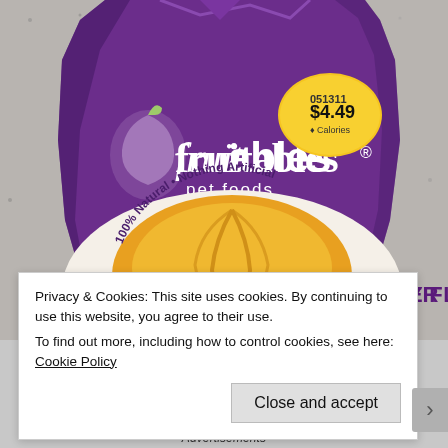[Figure (photo): A purple bag of Fruitables pet foods, Pumpkin & Blueberry Flavor, Deliciously Healthy Dog Treats. The bag shows '100% Natural • Nothing Artificial' on a circular pumpkin graphic. A yellow price sticker shows '05/311' and '$4.49' with a 'Calories' label. The bag is photographed on a granite/speckled countertop.]
Privacy & Cookies: This site uses cookies. By continuing to use this website, you agree to their use.
To find out more, including how to control cookies, see here: Cookie Policy
Close and accept
Advertisements